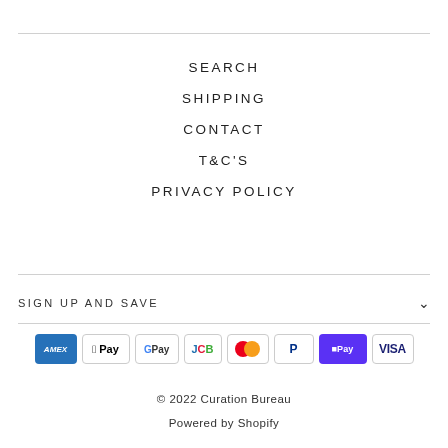SEARCH
SHIPPING
CONTACT
T&C'S
PRIVACY POLICY
SIGN UP AND SAVE
[Figure (other): Payment method logos: American Express, Apple Pay, Google Pay, JCB, Mastercard, PayPal, Shop Pay, Visa]
© 2022 Curation Bureau
Powered by Shopify